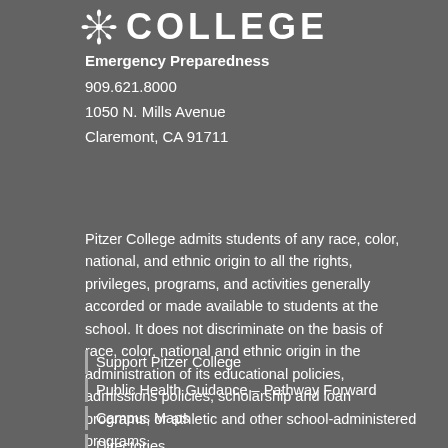[Figure (logo): Pitzer College logo with decorative floral/leaf SVG icon and 'COLLEGE' text in large bold letters]
Emergency Preparedness
909.621.8000
1050 N. Mills Avenue
Claremont, CA 91711
Pitzer College admits students of any race, color, national, and ethnic origin to all the rights, privileges, programs, and activities generally accorded or made available to students at the school. It does not discriminate on the basis of race, color, national and ethnic origin in the administration of its educational policies, admissions policies, scholarship and loan programs, or athletic and other school-administered programs.
Support Pitzer College
Public Health Guidance – Pathway Forward
Campus Maps
Directories